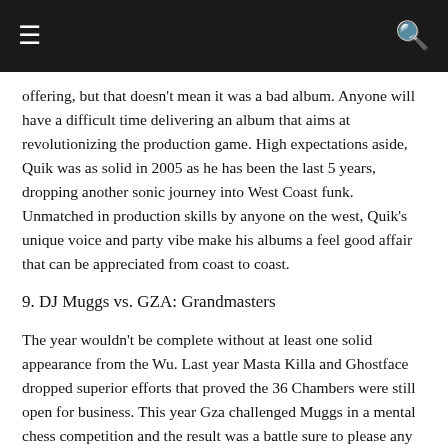≡  🔍
offering, but that doesn't mean it was a bad album. Anyone will have a difficult time delivering an album that aims at revolutionizing the production game. High expectations aside, Quik was as solid in 2005 as he has been the last 5 years, dropping another sonic journey into West Coast funk. Unmatched in production skills by anyone on the west, Quik's unique voice and party vibe make his albums a feel good affair that can be appreciated from coast to coast.
9. DJ Muggs vs. GZA: Grandmasters
The year wouldn't be complete without at least one solid appearance from the Wu. Last year Masta Killa and Ghostface dropped superior efforts that proved the 36 Chambers were still open for business. This year Gza challenged Muggs in a mental chess competition and the result was a battle sure to please any spectator. Muggs' beats were surprisingly "Wu," while Gza's darts were as razor sharp as ever. The Wu as a group may never return to glory, but as individuals they still have plenty to offer.
8. Danger Doom: The Mouse and the Mask